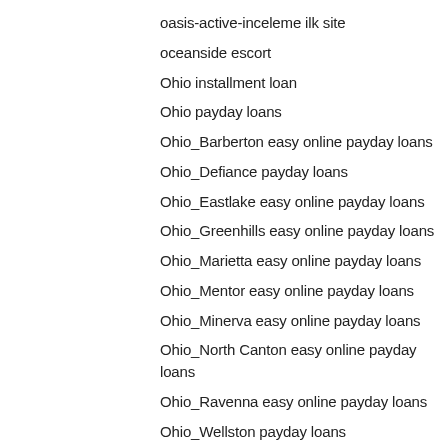oasis-active-inceleme ilk site
oceanside escort
Ohio installment loan
Ohio payday loans
Ohio_Barberton easy online payday loans
Ohio_Defiance payday loans
Ohio_Eastlake easy online payday loans
Ohio_Greenhills easy online payday loans
Ohio_Marietta easy online payday loans
Ohio_Mentor easy online payday loans
Ohio_Minerva easy online payday loans
Ohio_North Canton easy online payday loans
Ohio_Ravenna easy online payday loans
Ohio_Wellston payday loans
Ohio_Wellsville payday loans
ohlala dating
Ohlala reviews
Okcupid asian rencontre